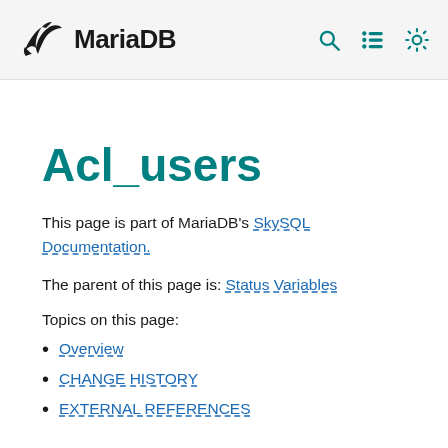MariaDB [logo] | search, list, settings icons
Acl_users
This page is part of MariaDB's SkySQL Documentation.
The parent of this page is: Status Variables
Topics on this page:
Overview
CHANGE HISTORY
EXTERNAL REFERENCES